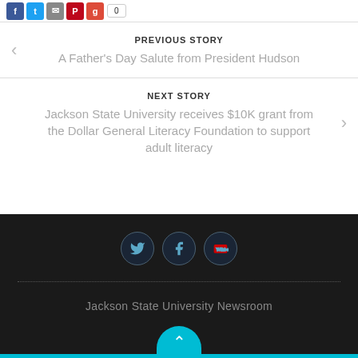PREVIOUS STORY
A Father's Day Salute from President Hudson
NEXT STORY
Jackson State University receives $10K grant from the Dollar General Literacy Foundation to support adult literacy
[Figure (illustration): Dark footer with Twitter, Facebook, and YouTube social media icons in circular dark buttons, dotted separator line, and Jackson State University Newsroom text]
Jackson State University Newsroom